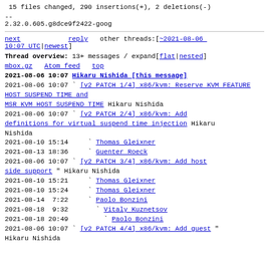15 files changed, 290 insertions(+), 2 deletions(-)
--
2.32.0.605.g8dce9f2422-goog
next        reply   other threads:[~2021-08-06 10:07 UTC|newest]
Thread overview: 13+ messages / expand[flat|nested]
mbox.gz  Atom feed  top
2021-08-06 10:07 Hikaru Nishida [this message]
2021-08-06 10:07 ` [v2 PATCH 1/4] x86/kvm: Reserve KVM FEATURE HOST SUSPEND TIME and MSR KVM HOST SUSPEND TIME Hikaru Nishida
2021-08-06 10:07 ` [v2 PATCH 2/4] x86/kvm: Add definitions for virtual suspend time injection Hikaru Nishida
2021-08-10 15:14   ` Thomas Gleixner
2021-08-13 18:36   ` Guenter Roeck
2021-08-06 10:07 ` [v2 PATCH 3/4] x86/kvm: Add host side support " Hikaru Nishida
2021-08-10 15:21   ` Thomas Gleixner
2021-08-10 15:24   ` Thomas Gleixner
2021-08-14  7:22   ` Paolo Bonzini
2021-08-18  9:32     ` Vitaly Kuznetsov
2021-08-18 20:49       ` Paolo Bonzini
2021-08-06 10:07 ` [v2 PATCH 4/4] x86/kvm: Add guest " Hikaru Nishida